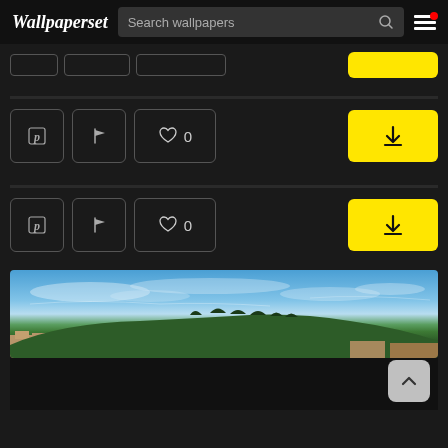Wallpaperset — Search wallpapers header with search bar and hamburger menu
[Figure (screenshot): Wallpaper website UI showing header with Wallpaperset logo, search bar with 'Search wallpapers' placeholder, search icon, and hamburger menu with red notification dot]
[Figure (screenshot): Partial tag buttons row and yellow download button area]
[Figure (screenshot): Action buttons row: Pinterest icon, flag icon, heart with 0 count, and yellow download button]
[Figure (screenshot): Second action buttons row: Pinterest icon, flag icon, heart with 0 count, and yellow download button]
[Figure (photo): Panoramic landscape photo showing blue sky with wispy clouds, a hill with trees and buildings typical of Italian or Mediterranean scenery]
[Figure (screenshot): Back-to-top button (upward chevron) in bottom right corner, dark area below panoramic image]